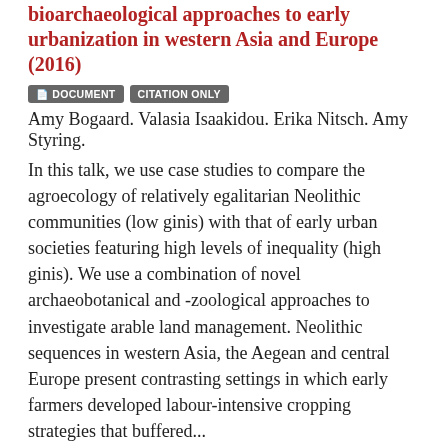bioarchaeological approaches to early urbanization in western Asia and Europe (2016)
DOCUMENT  CITATION ONLY  Amy Bogaard. Valasia Isaakidou. Erika Nitsch. Amy Styring.
In this talk, we use case studies to compare the agroecology of relatively egalitarian Neolithic communities (low ginis) with that of early urban societies featuring high levels of inequality (high ginis). We use a combination of novel archaeobotanical and -zoological approaches to investigate arable land management. Neolithic sequences in western Asia, the Aegean and central Europe present contrasting settings in which early farmers developed labour-intensive cropping strategies that buffered...
Algonquian Coastal Gardens and Landscape: Interpretations from Archaeobotany (2015)
DOCUMENT  CITATION ONLY  Jessica Herlich.
This paper explores how coastal Algonquian and shell midden sites in Tidewater Virginia relate to the greater